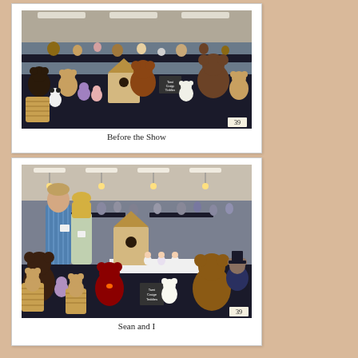[Figure (photo): A display table covered with a black tablecloth covered with numerous teddy bears and stuffed animals of various colors and sizes, in a convention hall, before the show opens. A small number tag reading 39 is visible in the lower right corner.]
Before the Show
[Figure (photo): A man and a woman (Sean and the author) standing behind a vendor table covered with a black tablecloth displaying teddy bears and stuffed animals at a show. A large convention hall is visible in the background filled with people and other vendor tables. A number tag reading 39 is visible in the lower right corner.]
Sean and I